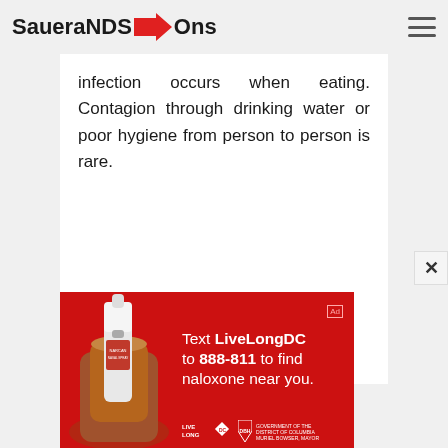SaueraNDS→Ons
infection occurs when eating. Contagion through drinking water or poor hygiene from person to person is rare.
[Figure (photo): Advertisement banner with red background showing a hand holding a Narcan nasal spray and text 'Text LiveLongDC to 888-811 to find naloxone near you.' with Live Long DC, DBH, and DC Government logos.]